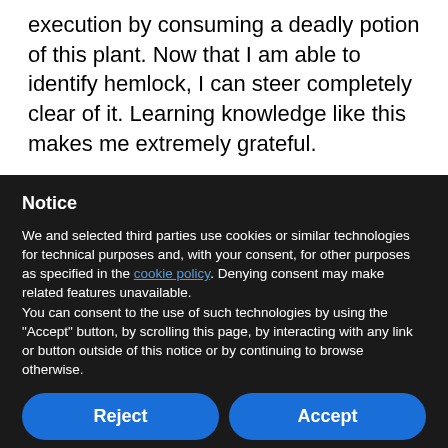execution by consuming a deadly potion of this plant. Now that I am able to identify hemlock, I can steer completely clear of it. Learning knowledge like this makes me extremely grateful.
Notice
We and selected third parties use cookies or similar technologies for technical purposes and, with your consent, for other purposes as specified in the cookie policy. Denying consent may make related features unavailable.
You can consent to the use of such technologies by using the "Accept" button, by scrolling this page, by interacting with any link or button outside of this notice or by continuing to browse otherwise.